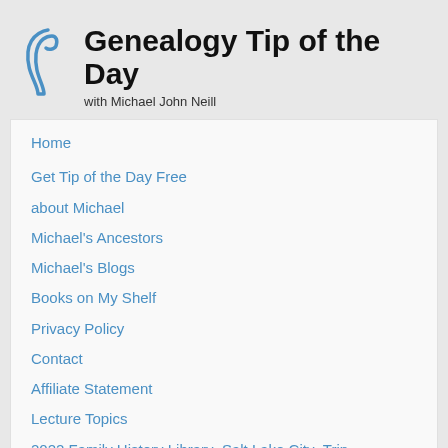Genealogy Tip of the Day
with Michael John Neill
Home
Get Tip of the Day Free
about Michael
Michael's Ancestors
Michael's Blogs
Books on My Shelf
Privacy Policy
Contact
Affiliate Statement
Lecture Topics
2022 Family History Library–Salt Lake City–Trip
Ft. Wayne 2022 Trip
Monthly Archives: September 2017